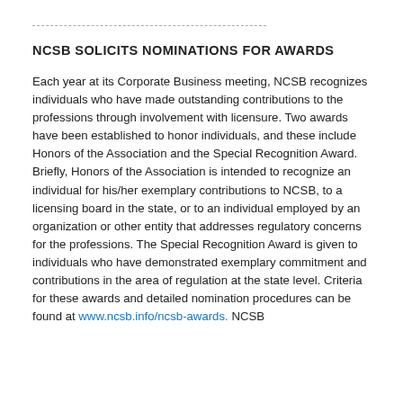NCSB SOLICITS NOMINATIONS FOR AWARDS
Each year at its Corporate Business meeting, NCSB recognizes individuals who have made outstanding contributions to the professions through involvement with licensure. Two awards have been established to honor individuals, and these include Honors of the Association and the Special Recognition Award. Briefly, Honors of the Association is intended to recognize an individual for his/her exemplary contributions to NCSB, to a licensing board in the state, or to an individual employed by an organization or other entity that addresses regulatory concerns for the professions. The Special Recognition Award is given to individuals who have demonstrated exemplary commitment and contributions in the area of regulation at the state level. Criteria for these awards and detailed nomination procedures can be found at www.ncsb.info/ncsb-awards. NCSB